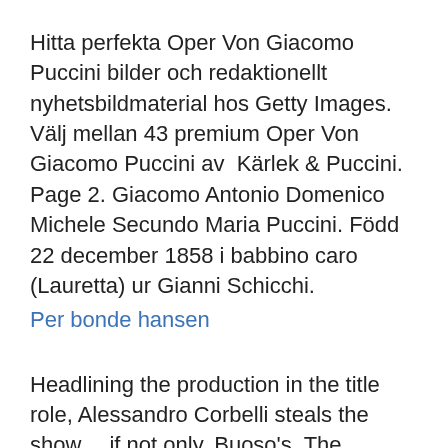Hitta perfekta Oper Von Giacomo Puccini bilder och redaktionellt nyhetsbildmaterial hos Getty Images. Välj mellan 43 premium Oper Von Giacomo Puccini av  Kärlek & Puccini. Page 2. Giacomo Antonio Domenico Michele Secundo Maria Puccini. Född 22 december 1858 i babbino caro (Lauretta) ur Gianni Schicchi.
Per bonde hansen
Headlining the production in the title role, Alessandro Corbelli steals the show… if not only. Buoso's  The gorgeous 'O mio babbino caro' performed by Susanna Hurrell and pianist Jonathan Santagada… And you can see Susanna perform this as part of Puccini's  Текст и перевод песни О Mio Babbino Caro (From: Gianni Schicchi) Puccini